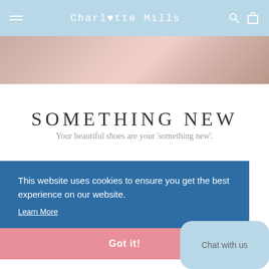Charlotte Mills
[Figure (photo): Floral hero image strip showing flowers and accessories]
SOMETHING NEW
Your beautiful shoes are your 'something new'.
This website uses cookies to ensure you get the best experience on our website.
Learn More
Got it!
Chat with us